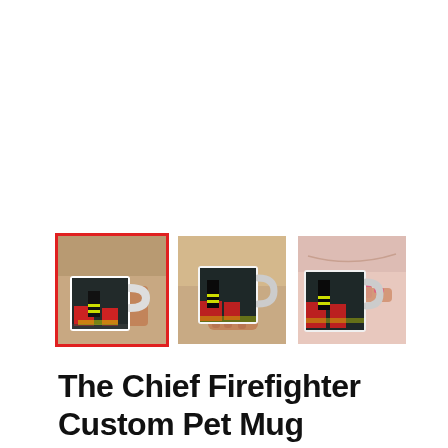[Figure (photo): Three thumbnail images of a custom firefighter-themed coffee mug being held by a person's hands. The first image has a red selection border. Each mug shows a firefighter in gear standing in front of fire trucks. The images are side by side.]
The Chief Firefighter Custom Pet Mug